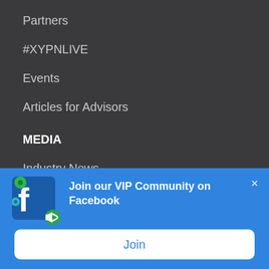Partners
#XYPNLIVE
Events
Articles for Advisors
MEDIA
Industry News
Personal Finance News
Submit a Media Request
[Figure (infographic): Facebook logo with green gear icons and a megaphone icon, on a blue popup banner.]
Join our VIP Community on Facebook
Join